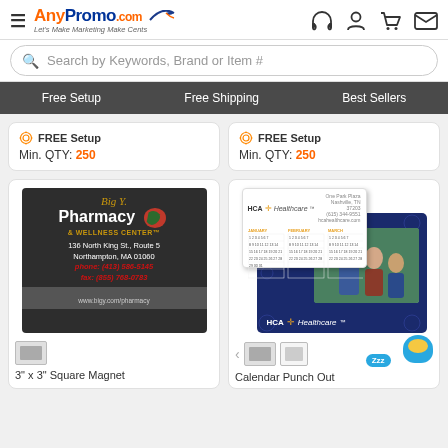[Figure (logo): AnyPromo.com logo with tagline 'Let's Make Marketing Make Cents' and navigation icons (headset, user, cart, mail)]
Search by Keywords, Brand or Item #
Free Setup | Free Shipping | Best Sellers
FREE Setup
Min. QTY: 250
FREE Setup
Min. QTY: 250
[Figure (photo): Big Y Pharmacy & Wellness Center promotional magnet showing address 136 North King St., Route 5, Northampton, MA 01060, phone (413) 586-5145, fax (855) 768-0783, www.bigy.com/pharmacy]
[Figure (photo): HCA Healthcare calendar punch out card product showing white card with calendar grid and dark blue background card with family photo]
3" x 3" Square Magnet
Calendar Punch Out